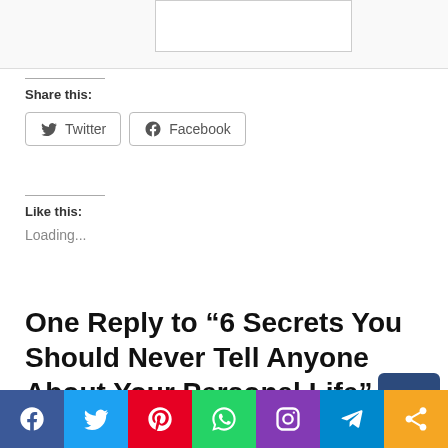[Figure (screenshot): Top image/embed area partially visible]
Share this:
Twitter  Facebook
Like this:
Loading...
One Reply to “6 Secrets You Should Never Tell Anyone About Your Personal Life”
1. Pingback: The Origin Of The Word Mafia And Ho...
[Figure (infographic): Social media sharing bar at bottom with Facebook, Twitter, Pinterest, WhatsApp, Instagram, Telegram, Share icons]